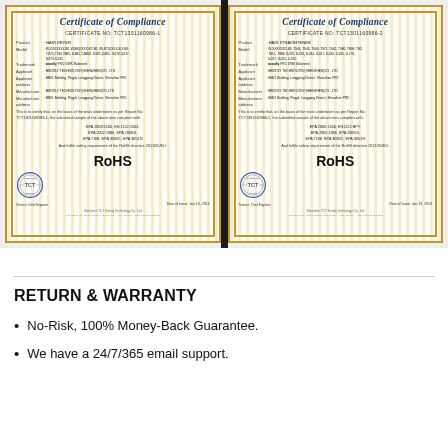[Figure (photo): Two RoHS Certificates of Compliance side by side from Shenzhen TCT Testing Technology Co. Ltd. Left certificate is for HAIR DRYER, right certificate is for HAIR STRAIGHTENER. Both show product details, trademark (acoolly DWK Balanced), applicant (MEDOLY TECHNOLOGY(SHENZHEN)CO.,LTD), manufacturer, EPA standards, RoHS directive compliance, TCT seal, and Chief Engineer signature dated Jan 19, 2013.]
RETURN & WARRANTY
No-Risk, 100% Money-Back Guarantee.
We have a 24/7/365 email support.